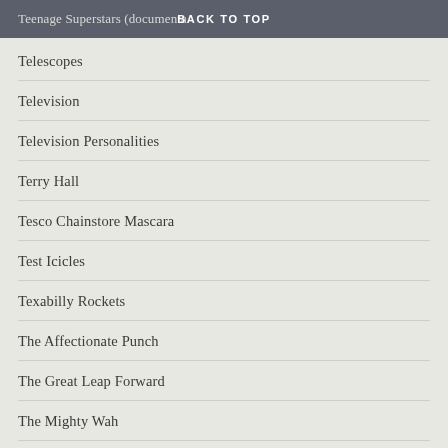Teenage Superstars (documenta... BACK TO TOP
Telescopes
Television
Television Personalities
Terry Hall
Tesco Chainstore Mascara
Test Icicles
Texabilly Rockets
The Affectionate Punch
The Great Leap Forward
The Mighty Wah
The Room
The The